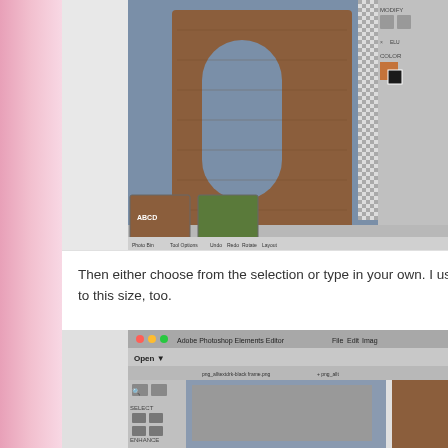[Figure (screenshot): Adobe Photoshop Elements editor screenshot showing a wooden letter on a blue/gray canvas with toolbar panels visible on the right side and a filmstrip/open files panel at the bottom]
Then either choose from the selection or type in your own.  I us to this size, too.
[Figure (screenshot): Adobe Photoshop Elements editor screenshot showing an open file dialog or workspace with toolbar on the left and a gray canvas area with a brown element visible on the right edge]